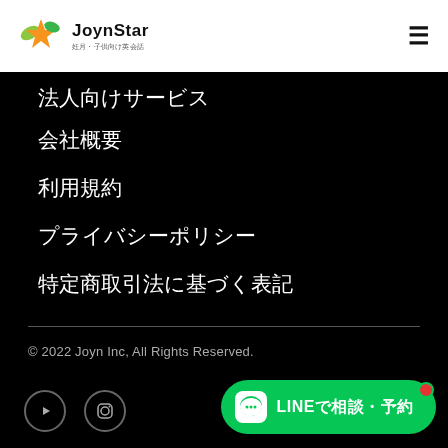JoynStar 妊月・子供向け英会話
法人向けサービス
会社概要
利用規約
プライバシーポリシー
特定商取引法に基づく表記
© 2022 Joyn Inc, All Rights Reserved.